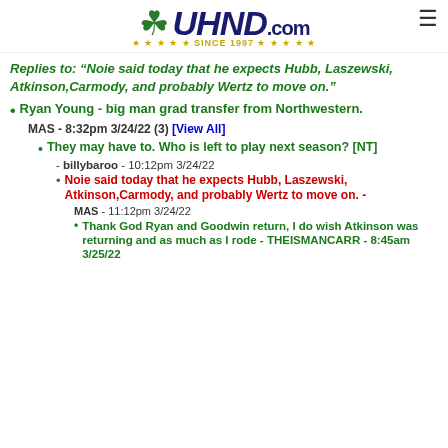UHND.com - Since 1997
Replies to: "Noie said today that he expects Hubb, Laszewski, Atkinson,Carmody, and probably Wertz to move on."
Ryan Young - big man grad transfer from Northwestern. - MAS - 8:32pm 3/24/22 (3) [View All]
They may have to. Who is left to play next season? [NT] - billybaroo - 10:12pm 3/24/22
Noie said today that he expects Hubb, Laszewski, Atkinson,Carmody, and probably Wertz to move on. - MAS - 11:12pm 3/24/22
Thank God Ryan and Goodwin return, I do wish Atkinson was returning and as much as I rode - THEISMANCARR - 8:45am 3/25/22